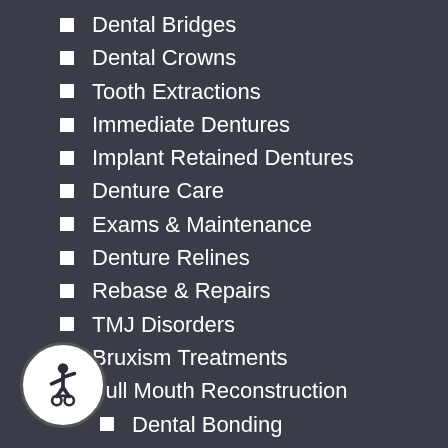Dental Bridges
Dental Crowns
Tooth Extractions
Immediate Dentures
Implant Retained Dentures
Denture Care
Exams & Maintenance
Denture Relines
Rebase & Repairs
TMJ Disorders
Bruxism Treatments
Full Mouth Reconstruction
Dental Bonding
Porcelain Veneers
Inlays & Onlays
ZOOM! Teeth Whitening
CEREC®